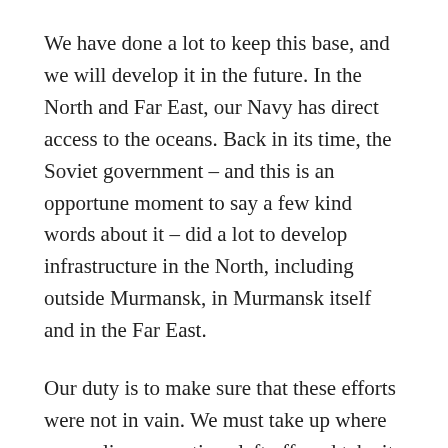We have done a lot to keep this base, and we will develop it in the future. In the North and Far East, our Navy has direct access to the oceans. Back in its time, the Soviet government – and this is an opportune moment to say a few kind words about it – did a lot to develop infrastructure in the North, including outside Murmansk, in Murmansk itself and in the Far East.
Our duty is to make sure that these efforts were not in vain. We must take up where our earlier generations left off, and take it to the next level. Sevastopol is also an important component of the naval infrastructure in Europe. As you can see, we equip the Black Sea Fleet with new ships and submarines. The Rostov-on-Don submarine